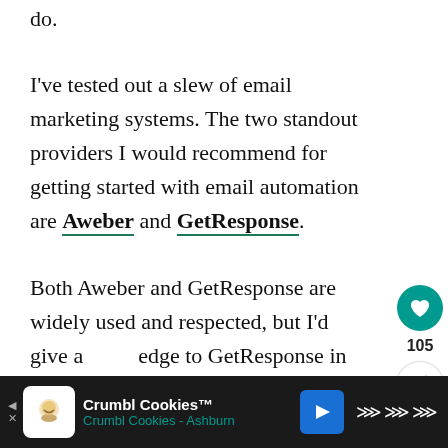do.
I've tested out a slew of email marketing systems. The two standout providers I would recommend for getting started with email automation are Aweber and GetResponse.
Both Aweber and GetResponse are widely used and respected, but I'd give a edge to GetResponse in terms of value
[Figure (other): Like/heart button widget showing 105 likes, and a share button below it]
[Figure (other): What's Next widget showing a thumbnail image and text: WHAT'S NEXT → How to Focus Your Travel...]
[Figure (other): Advertisement bar at bottom: Crumbl Cookies™, Crumbl Cookies - Ashburn, with cookie logo and navigation arrow icon, and audio/podcast icon on right]